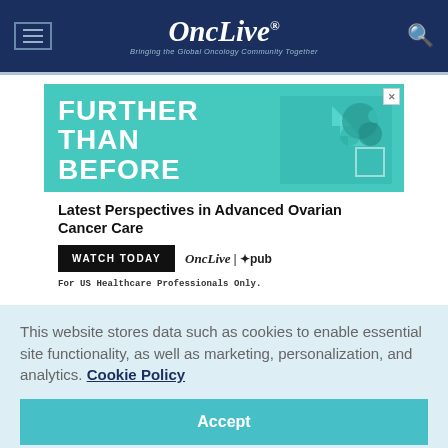OncLive — Bringing the Global Oncology Community Together
[Figure (screenshot): Advertisement banner: 'FURTHER THAN BEFORE' — Latest Perspectives in Advanced Ovarian Cancer Care. Watch Today button. OncLive | ipub logos. For US Healthcare Professionals Only.]
This website stores data such as cookies to enable essential site functionality, as well as marketing, personalization, and analytics. Cookie Policy
Accept
Deny